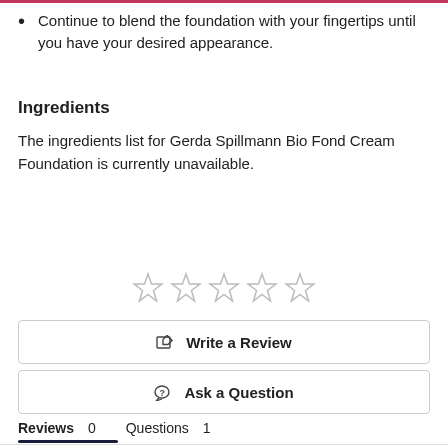Continue to blend the foundation with your fingertips until you have your desired appearance.
Ingredients
The ingredients list for Gerda Spillmann Bio Fond Cream Foundation is currently unavailable.
[Figure (other): Five empty star rating icons in a row]
Write a Review
Ask a Question
Reviews 0    Questions 1